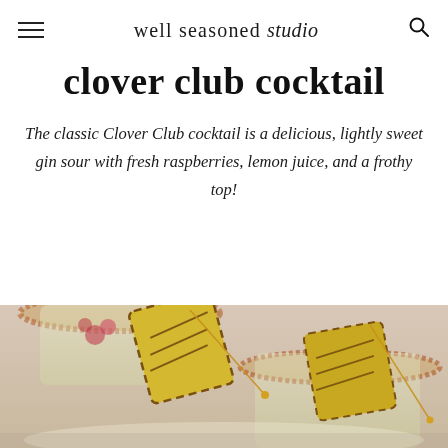well seasoned studio
clover club cocktail
The classic Clover Club cocktail is a delicious, lightly sweet gin sour with fresh raspberries, lemon juice, and a frothy top!
[Figure (photo): Overhead/angled view of cocktail glasses rimmed with sugar/salt, garnished with grilled pineapple slices on cocktail picks, with a pale yellow-green drink visible]